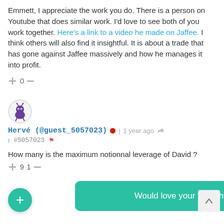Emmett, I appreciate the work you do. There is a person on Youtube that does similar work. I'd love to see both of you work together. Here's a link to a video he made on Jaffee. I think others will also find it insightful. It is about a trade that has gone against Jaffee massively and how he manages it into profit.
[Figure (other): Vote buttons: plus sign, 0, minus sign]
[Figure (photo): User avatar showing a cartoon alien/monster character in purple on white circle background]
Hervé (@guest_5057023) • | 1 year ago [share icon]
i  #5057023 [flag icon]
How many is the maximum notionnal leverage of David ?
+9 1 —
Would love your thoughts, please comment.